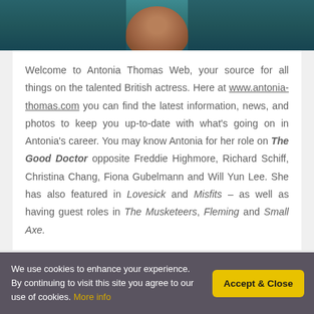[Figure (photo): Cropped photo of Antonia Thomas, a young Black woman, shown from the shoulders up against a blurred background with teal/blue tones.]
Welcome to Antonia Thomas Web, your source for all things on the talented British actress. Here at www.antonia-thomas.com you can find the latest information, news, and photos to keep you up-to-date with what's going on in Antonia's career. You may know Antonia for her role on The Good Doctor opposite Freddie Highmore, Richard Schiff, Christina Chang, Fiona Gubelmann and Will Yun Lee. She has also featured in Lovesick and Misfits – as well as having guest roles in The Musketeers, Fleming and Small Axe.
We use cookies to enhance your experience. By continuing to visit this site you agree to our use of cookies. More info
Accept & Close